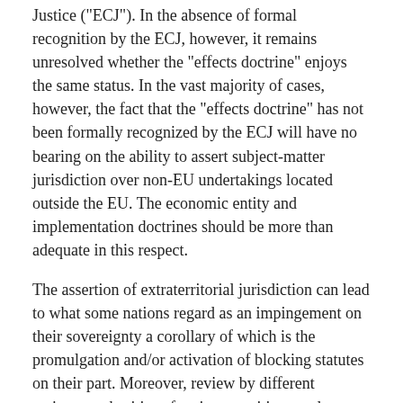Justice ("ECJ"). In the absence of formal recognition by the ECJ, however, it remains unresolved whether the "effects doctrine" enjoys the same status. In the vast majority of cases, however, the fact that the "effects doctrine" has not been formally recognized by the ECJ will have no bearing on the ability to assert subject-matter jurisdiction over non-EU undertakings located outside the EU. The economic entity and implementation doctrines should be more than adequate in this respect.
The assertion of extraterritorial jurisdiction can lead to what some nations regard as an impingement on their sovereignty a corollary of which is the promulgation and/or activation of blocking statutes on their part. Moreover, review by different antitrust authorities of anti-competitive conduct can lead to undesirable outcomes, such as divergent results. In order to temper the effects of the unilateral assertion of extra-territorial jurisdiction, comity principles have come to the fore. Primary Community legislation is silent on the principle of comity, however. Comity does form an integral part of the EU's bilateral antitrust cooperation agreements with the US, Canada